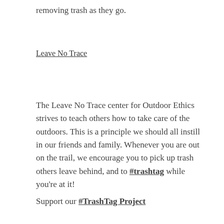removing trash as they go.
Leave No Trace
The Leave No Trace center for Outdoor Ethics strives to teach others how to take care of the outdoors. This is a principle we should all instill in our friends and family. Whenever you are out on the trail, we encourage you to pick up trash others leave behind, and to #trashtag while you're at it!
Support our #TrashTag Project